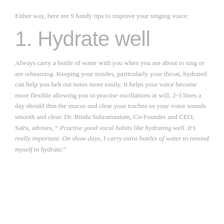Either way, here are 9 handy tips to improve your singing voice:
1. Hydrate well
Always carry a bottle of water with you when you are about to sing or are rehearsing. Keeping your insides, particularly your throat, hydrated can help you belt out notes more easily. It helps your voice become more flexible allowing you to practise oscillations at will. 2-3 litres a day should thin the mucus and clear your trachea so your voice sounds smooth and clear. Dr. Bindu Subramaniam, Co-Founder and CEO, SaPa, advises, “ Practise good vocal habits like hydrating well. It’s really important. On show days, I carry extra bottles of water to remind myself to hydrate.”